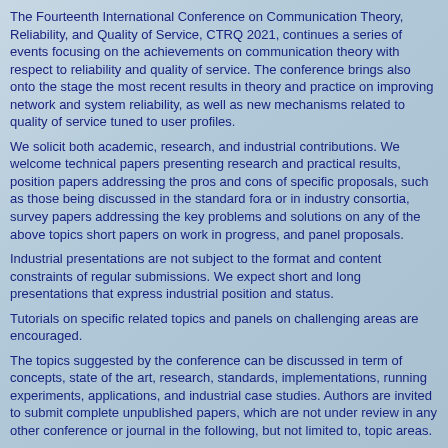The Fourteenth International Conference on Communication Theory, Reliability, and Quality of Service, CTRQ 2021, continues a series of events focusing on the achievements on communication theory with respect to reliability and quality of service. The conference brings also onto the stage the most recent results in theory and practice on improving network and system reliability, as well as new mechanisms related to quality of service tuned to user profiles.
We solicit both academic, research, and industrial contributions. We welcome technical papers presenting research and practical results, position papers addressing the pros and cons of specific proposals, such as those being discussed in the standard fora or in industry consortia, survey papers addressing the key problems and solutions on any of the above topics short papers on work in progress, and panel proposals.
Industrial presentations are not subject to the format and content constraints of regular submissions. We expect short and long presentations that express industrial position and status.
Tutorials on specific related topics and panels on challenging areas are encouraged.
The topics suggested by the conference can be discussed in term of concepts, state of the art, research, standards, implementations, running experiments, applications, and industrial case studies. Authors are invited to submit complete unpublished papers, which are not under review in any other conference or journal in the following, but not limited to, topic areas.
All topics and submission formats are open to both research and industry contributions.
CTRQ 2021 conference tracks:
Communication theory
Fundamentals in communication theory; Communications switching and routing; Communications modeling; Communications security; Autonomic communications;